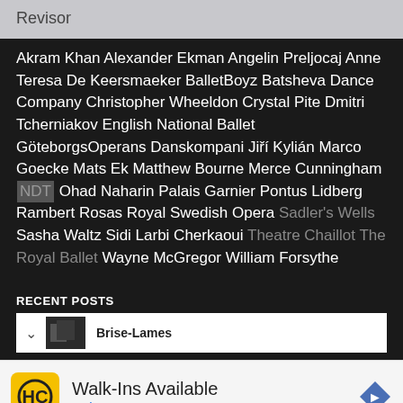Revisor
Akram Khan Alexander Ekman Angelin Preljocaj Anne Teresa De Keersmaeker BalletBoyz Batsheva Dance Company Christopher Wheeldon Crystal Pite Dmitri Tcherniakov English National Ballet GöteborgsOperans Danskompani Jiří Kylián Marco Goecke Mats Ek Matthew Bourne Merce Cunningham NDT Ohad Naharin Palais Garnier Pontus Lidberg Rambert Rosas Royal Swedish Opera Sadler's Wells Sasha Waltz Sidi Larbi Cherkaoui Theatre Chaillot The Royal Ballet Wayne McGregor William Forsythe
RECENT POSTS
Brise-Lames
[Figure (screenshot): Advertisement for Hair Cuttery Walk-Ins Available with logo and navigation arrow icon]